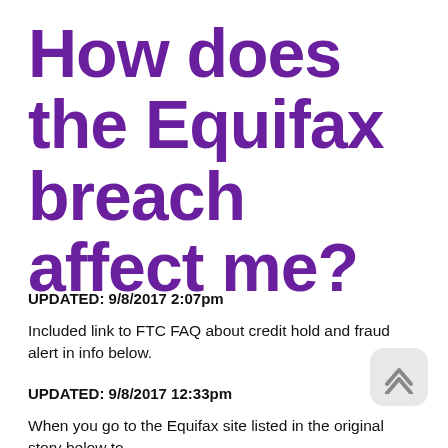How does the Equifax breach affect me?
UPDATED: 9/8/2017 2:07pm
Included link to FTC FAQ about credit hold and fraud alert in info below.
UPDATED: 9/8/2017 12:33pm
When you go to the Equifax site listed in the original story below to